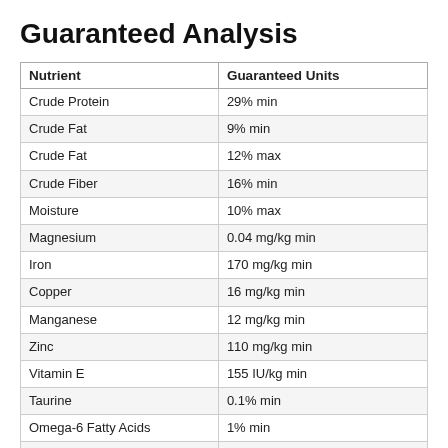Guaranteed Analysis
| Nutrient | Guaranteed Units |
| --- | --- |
| Crude Protein | 29% min |
| Crude Fat | 9% min |
| Crude Fat | 12% max |
| Crude Fiber | 16% min |
| Moisture | 10% max |
| Magnesium | 0.04 mg/kg min |
| Iron | 170 mg/kg min |
| Copper | 16 mg/kg min |
| Manganese | 12 mg/kg min |
| Zinc | 110 mg/kg min |
| Vitamin E | 155 IU/kg min |
| Taurine | 0.1% min |
| Omega-6 Fatty Acids | 1% min |
| Omega-3 Fatty Acids | 0.2% min |
| Vitamin C | 100 mg/kg min |
| Cobalt | 1.0 mg/kg min |
| Total Microorganisms | 100 million CFU/lb min |